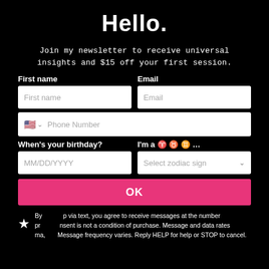Hello.
Join my newsletter to receive universal insights and $15 off your first session.
First name | Email | Phone Number | When's your birthday? MM/DD/YYYY | I'm a ♈ ♉ ♊ ... Select zodiac sign
OK
By signing up via text, you agree to receive messages at the number provided. Consent is not a condition of purchase. Message and data rates may apply. Message frequency varies. Reply HELP for help or STOP to cancel.